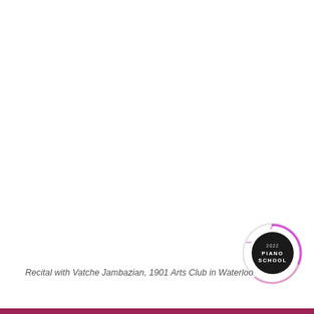[Figure (logo): Circular badge/seal with dark background reading '2022 PIANO SCHOOL' with pink/magenta spiral decoration around it]
Recital with Vatche Jambazian, 1901 Arts Club in Waterloo